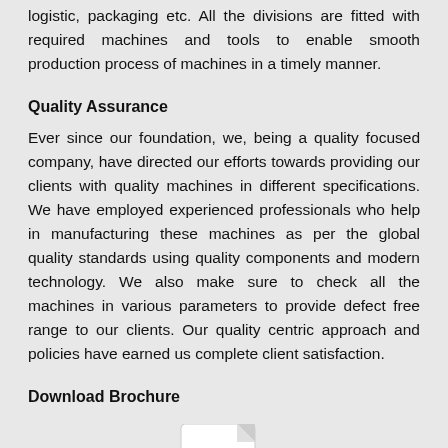logistic, packaging etc. All the divisions are fitted with required machines and tools to enable smooth production process of machines in a timely manner.
Quality Assurance
Ever since our foundation, we, being a quality focused company, have directed our efforts towards providing our clients with quality machines in different specifications. We have employed experienced professionals who help in manufacturing these machines as per the global quality standards using quality components and modern technology. We also make sure to check all the machines in various parameters to provide defect free range to our clients. Our quality centric approach and policies have earned us complete client satisfaction.
Download Brochure
[Figure (illustration): PDF file icon with red PDF label badge and red document lines at the bottom right]